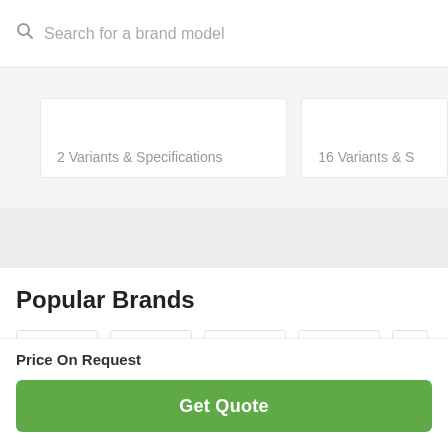Search for a brand model
2 Variants & Specifications
16 Variants & S
Popular Brands
Price On Request
Get Quote